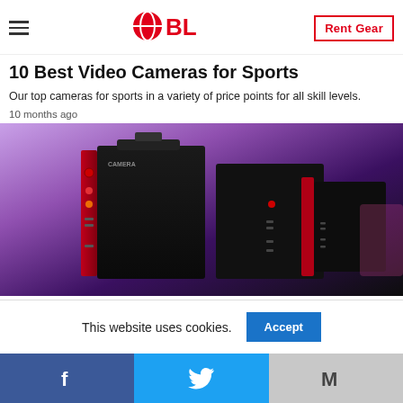BL — Rent Gear
10 Best Video Cameras for Sports
Our top cameras for sports in a variety of price points for all skill levels.
10 months ago
[Figure (photo): Photo of professional video cameras arranged together against a purple/pink gradient background. Multiple black camera bodies with red accents visible, showing ports and connectors on the sides.]
This website uses cookies.
Facebook | Twitter | Gmail social share buttons